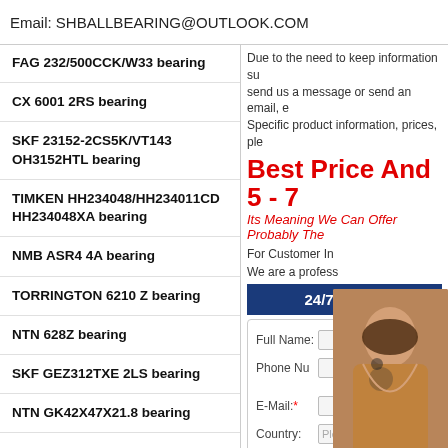Email: SHBALLBEARING@OUTLOOK.COM
FAG 232/500CCK/W33 bearing
CX 6001 2RS bearing
SKF 23152-2CS5K/VT143 OH3152HTL bearing
TIMKEN HH234048/HH234011CD HH234048XA bearing
NMB ASR4 4A bearing
TORRINGTON 6210 Z bearing
NTN 628Z bearing
SKF GEZ312TXE 2LS bearing
NTN GK42X47X21.8 bearing
Due to the need to keep information su send us a message or send an email, e Specific product information, prices, ple
Best Price And 5 - 7
Its Meaning We Can Offer Probably The
For Customer In
We are a profess
24/7 Online
Full Name:
Phone Nu
Have any requests, click here.
E-Mail:
Quotation
Country:
Ple